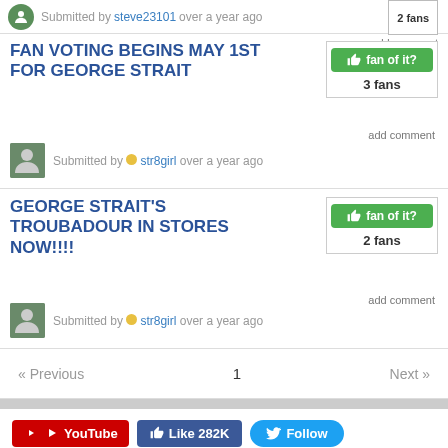2 fans
Submitted by steve23101 over a year ago
add comment
FAN VOTING BEGINS MAY 1ST FOR GEORGE STRAIT
[Figure (other): Green 'fan of it?' button with thumbs up icon, showing 3 fans]
3 fans
add comment
Submitted by str8girl over a year ago
GEORGE STRAIT'S TROUBADOUR IN STORES NOW!!!!
[Figure (other): Green 'fan of it?' button with thumbs up icon, showing 2 fans]
2 fans
add comment
Submitted by str8girl over a year ago
« Previous  1  Next »
[Figure (other): YouTube button (red), Like 282K button (blue Facebook), Follow button (light blue Twitter)]
RELATED SITES
TV Guide